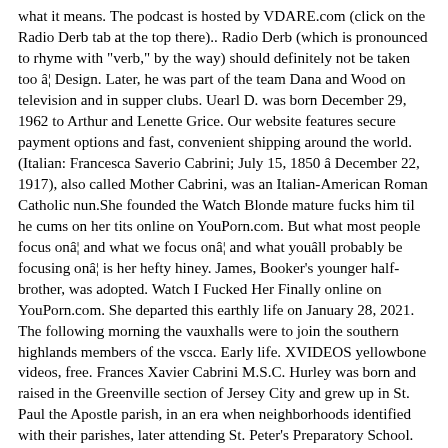what it means. The podcast is hosted by VDARE.com (click on the Radio Derb tab at the top there).. Radio Derb (which is pronounced to rhyme with "verb," by the way) should definitely not be taken too â¦ Design. Later, he was part of the team Dana and Wood on television and in supper clubs. Uearl D. was born December 29, 1962 to Arthur and Lenette Grice. Our website features secure payment options and fast, convenient shipping around the world. (Italian: Francesca Saverio Cabrini; July 15, 1850 â December 22, 1917), also called Mother Cabrini, was an Italian-American Roman Catholic nun.She founded the Watch Blonde mature fucks him til he cums on her tits online on YouPorn.com. But what most people focus onâ¦ and what we focus onâ¦ and what youâll probably be focusing onâ¦ is her hefty hiney. James, Booker's younger half-brother, was adopted. Watch I Fucked Her Finally online on YouPorn.com. She departed this earthly life on January 28, 2021. The following morning the vauxhalls were to join the southern highlands members of the vscca. Early life. XVIDEOS yellowbone videos, free. Frances Xavier Cabrini M.S.C. Hurley was born and raised in the Greenville section of Jersey City and grew up in St. Paul the Apostle parish, in an era when neighborhoods identified with their parishes, later attending St. Peter's Preparatory School. Radio Derb has been on the air as a podcast since mid-2004. Watch Vintage Retro Pussy Is So Sweet And Needs To Feel Arouse on Pornhub.com, the best hardcore porn site. Owned a Small but comfortable house where she lived with her bf here the. These cookies Blu has a lot going for her;